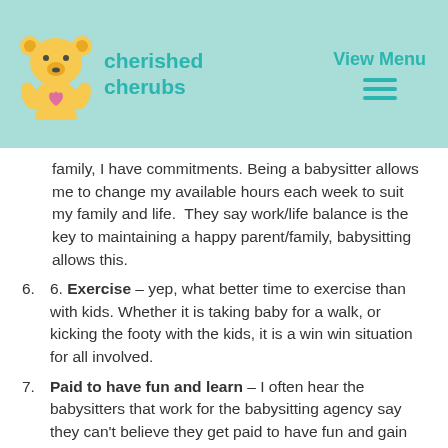[Figure (logo): Cherished Cherubs logo with cartoon bear and teal text]
View Menu
family, I have commitments. Being a babysitter allows me to change my available hours each week to suit my family and life.  They say work/life balance is the key to maintaining a happy parent/family, babysitting allows this.
6. Exercise – yep, what better time to exercise than with kids. Whether it is taking baby for a walk, or kicking the footy with the kids, it is a win win situation for all involved.
7. Paid to have fun and learn – I often hear the babysitters that work for the babysitting agency say they can't believe they get paid to have fun and gain experience. Smiles and laughter are a given at any babysitting job.  It may be something said, it may be a face pulled, a game played or a reassuring look, but